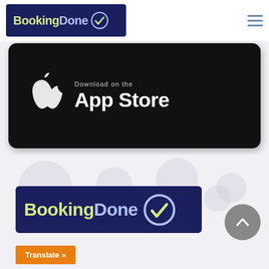BookingDone navigation bar with logo and hamburger menu
[Figure (logo): BookingDone logo: dark navy rectangle with 'Booking' in yellow-green bold text and 'Done' in light blue bold text, with a circular checkmark icon on the right]
[Figure (screenshot): Apple App Store download badge: black rounded rectangle with Apple logo and text 'Download on the App Store' in white]
[Figure (logo): BookingDone logo (larger version): dark navy rectangle with 'Booking' in yellow-green bold text and 'Done' in light blue bold text, with circular checkmark]
[Figure (other): Circular scroll-to-top button in gray with an upward chevron/arrow icon]
Translate »